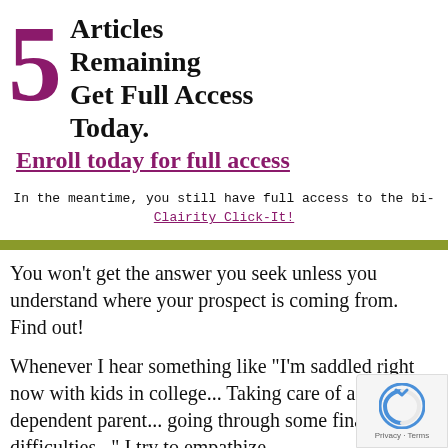5 Articles Remaining Get Full Access Today.
Enroll today for full access
In the meantime, you still have full access to the bi- Clairity Click-It!
You won’t get the answer you seek unless you understand where your prospect is coming from. Find out!
Whenever I hear something like “I’m saddled right now with kids in college... Taking care of a dependent parent... going through some finan difficulties...” I try to empathize.